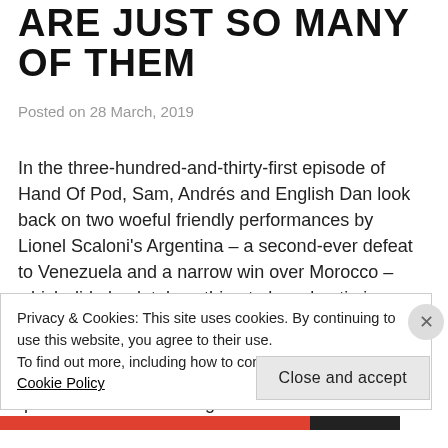ARE JUST SO MANY OF THEM
Posted on 28 March, 2019
In the three-hundred-and-thirty-first episode of Hand Of Pod, Sam, Andrés and English Dan look back on two woeful friendly performances by Lionel Scaloni's Argentina – a second-ever defeat to Venezuela and a narrow win over Morocco – which did absolutely nothing to breed optimism ahead of the Copa América. We also preview the last two weeks of the Superliga season, with the title run-in and the Copa Sudamericana qualification battle taking centre
Privacy & Cookies: This site uses cookies. By continuing to use this website, you agree to their use.
To find out more, including how to control cookies, see here: Cookie Policy
Close and accept